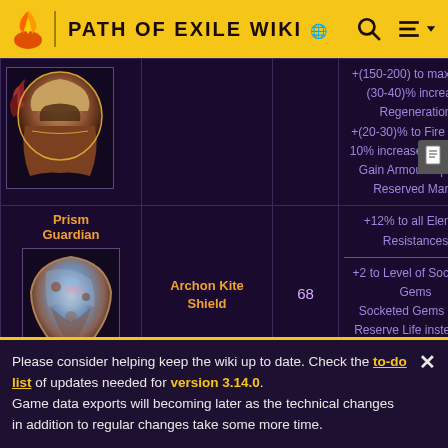PATH OF EXILE WIKI
| Item | Base Item | Lvl | Modifiers |
| --- | --- | --- | --- |
| [image: armored helm] |  |  | +(150-200) to maximum
(30-40)% increase
Regeneration
+(20-30)% to Fire Res...
10% increased Mana Re
Gain Armour equal to
Reserved Mana |
| Prism Guardian
[image: kite shield] | Archon Kite Shield | 68 | +12% to all Elemental Resistances
+2 to Level of Socketed Gems
Socketed Gems Cost
Reserve Life instead of |
Please consider helping keep the wiki up to date. Check the to-do list of updates needed for version 3.14.0.
Game data exports will becoming later as the technical changes in addition to regular changes take some more time.